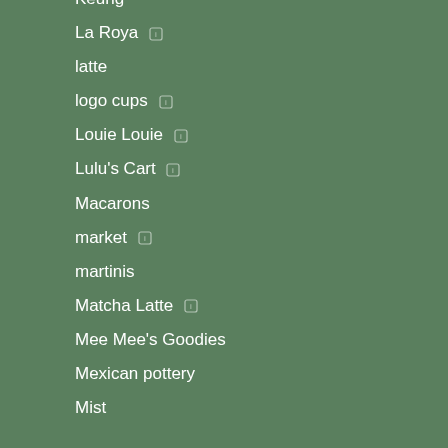Keurig
La Roya
latte
logo cups
Louie Louie
Lulu's Cart
Macarons
market
martinis
Matcha Latte
Mee Mee's Goodies
Mexican pottery
Mist